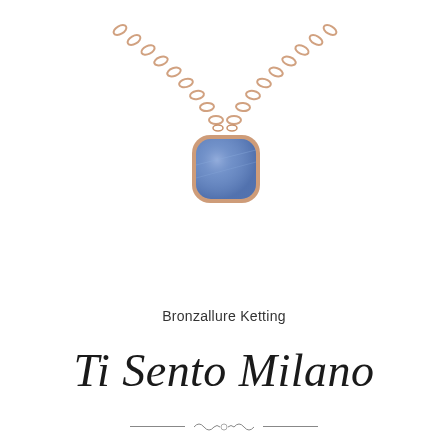[Figure (photo): Product photo of a rose gold chain necklace with a square cushion-cut blue gemstone pendant, centered on a white background]
Bronzallure Ketting
Ti Sento Milano